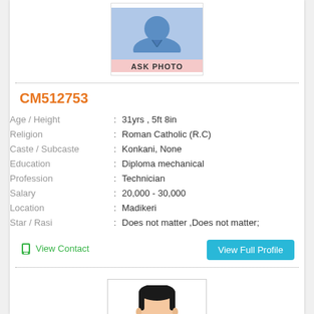[Figure (illustration): Blue avatar silhouette with 'ASK PHOTO' label on pink background, inside a bordered box]
CM512753
| Age / Height | : | 31yrs , 5ft 8in |
| Religion | : | Roman Catholic (R.C) |
| Caste / Subcaste | : | Konkani, None |
| Education | : | Diploma mechanical |
| Profession | : | Technician |
| Salary | : | 20,000 - 30,000 |
| Location | : | Madikeri |
| Star / Rasi | : | Does not matter ,Does not matter; |
View Contact
View Full Profile
[Figure (illustration): Male face avatar illustration, cartoon-style with black hair and peach skin tone]